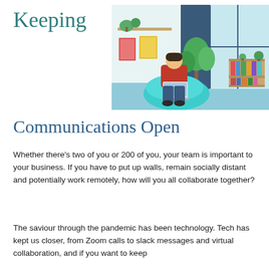Keeping
[Figure (illustration): Illustration of a person sitting on a teal bean bag chair, working on a laptop in a home office setting with plants, curtains, a large window, and a bookshelf in the background.]
Communications Open
Whether there's two of you or 200 of you, your team is important to your business. If you have to put up walls, remain socially distant and potentially work remotely, how will you all collaborate together?
The saviour through the pandemic has been technology. Tech has kept us closer, from Zoom calls to slack messages and virtual collaboration, and if you want to keep...